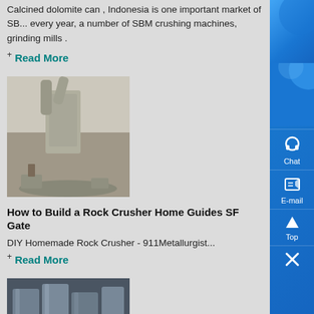Calcined dolomite can , Indonesia is one important market of SB... every year, a number of SBM crushing machines, grinding mills .
+ Read More
[Figure (photo): Industrial grinding/crushing machine at a construction or mining site]
How to Build a Rock Crusher Home Guides SF Gate
DIY Homemade Rock Crusher - 911Metallurgist...
+ Read More
[Figure (photo): Interior of industrial facility with large metal tanks or silos]
How to Build a Gravel Shed Foundation